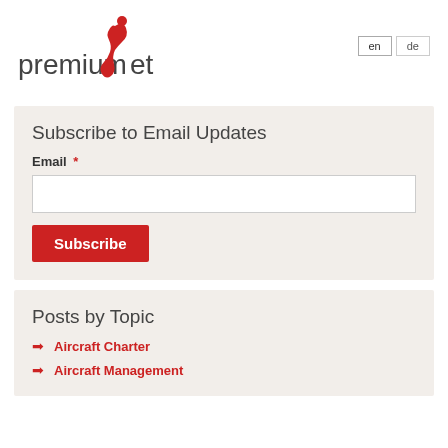[Figure (logo): PremiumJet logo with stylized red figure and text 'premiumjet' in dark gray and red]
en  de
Subscribe to Email Updates
Email *
Subscribe
Posts by Topic
Aircraft Charter
Aircraft Management